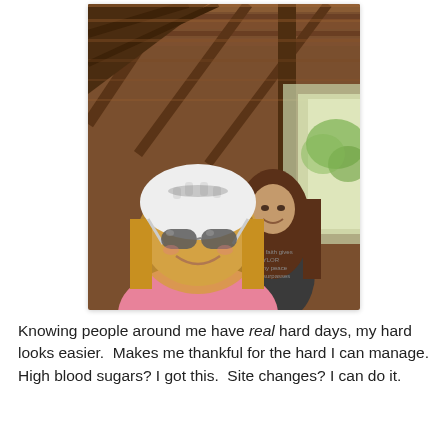[Figure (photo): A selfie photo of a woman wearing a white bicycle helmet and sunglasses, smiling. She is in the foreground. Behind her is a younger girl with long brown hair wearing a dark t-shirt. They are inside a covered wooden bridge or barn structure with wooden rafters and beams visible overhead. Greenery and bright daylight are visible through the opening behind them.]
Knowing people around me have real hard days, my hard looks easier.  Makes me thankful for the hard I can manage.  High blood sugars? I got this.  Site changes? I can do it.